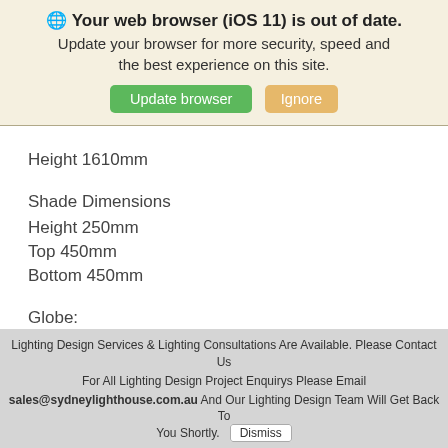🌐 Your web browser (iOS 11) is out of date. Update your browser for more security, speed and the best experience on this site.
Update browser | Ignore
Height 1610mm
Shade Dimensions
Height 250mm
Top 450mm
Bottom 450mm
Globe:
Lighting Design Services & Lighting Consultations Are Available. Please Contact Us
For All Lighting Design Project Enquirys Please Email
sales@sydneylighthouse.com.au And Our Lighting Design Team Will Get Back To You Shortly.  Dismiss